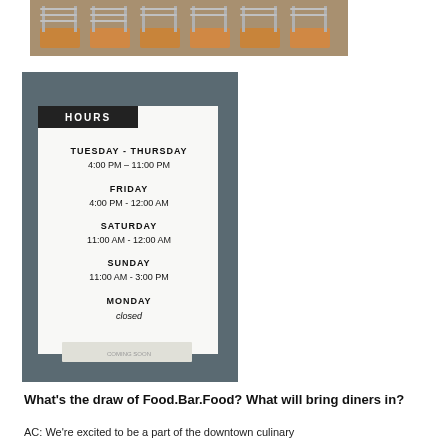[Figure (photo): Stacked restaurant chairs on tables, top portion of image]
[Figure (photo): Photo of a restaurant hours sign posted on a window/door. Sign reads: HOURS | TUESDAY - THURSDAY 4:00 PM - 11:00 PM | FRIDAY 4:00 PM - 12:00 AM | SATURDAY 11:00 AM - 12:00 AM | SUNDAY 11:00 AM - 3:00 PM | MONDAY closed]
What's the draw of Food.Bar.Food? What will bring diners in?
AC: We're excited to be a part of the downtown culinary